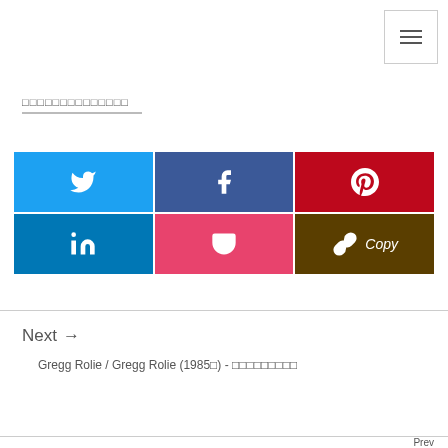[Figure (screenshot): Hamburger menu button icon in top right corner]
□□□□□□□□□□□□□□
[Figure (infographic): Social share buttons grid: Twitter (blue), Facebook (dark blue), Pinterest (red), LinkedIn (blue), Pocket (pink), Copy (brown)]
Next →
Gregg Rolie / Gregg Rolie (1985□) - □□□□□□□□□
Prev